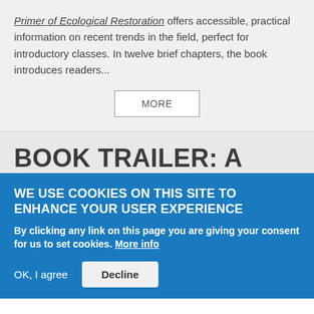Primer of Ecological Restoration offers accessible, practical information on recent trends in the field, perfect for introductory classes. In twelve brief chapters, the book introduces readers...
MORE
BOOK TRAILER: A NEW COAST
WE USE COOKIES ON THIS SITE TO ENHANCE YOUR USER EXPERIENCE
By clicking any link on this page you are giving your consent for us to set cookies. More info
OK, I agree   Decline